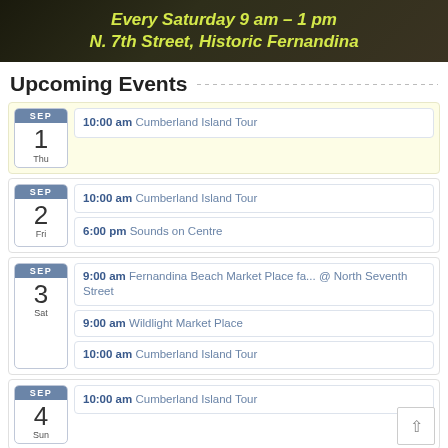[Figure (photo): Banner image with dark background and yellow-green italic text reading 'Every Saturday 9 am - 1 pm N. 7th Street, Historic Fernandina']
Upcoming Events
SEP 1 Thu — 10:00 am Cumberland Island Tour
SEP 2 Fri — 10:00 am Cumberland Island Tour; 6:00 pm Sounds on Centre
SEP 3 Sat — 9:00 am Fernandina Beach Market Place fa... @ North Seventh Street; 9:00 am Wildlight Market Place; 10:00 am Cumberland Island Tour
SEP 4 Sun — 10:00 am Cumberland Island Tour
SEP (partial, cut off)